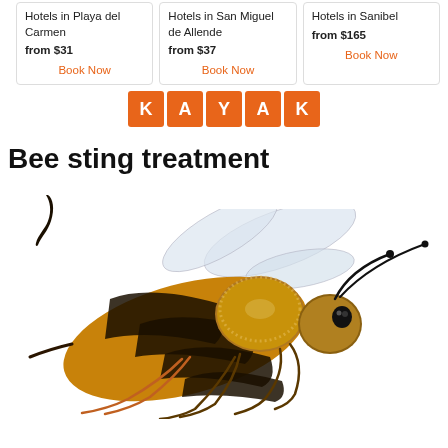Hotels in Playa del Carmen
from $31
Book Now
Hotels in San Miguel de Allende
from $37
Book Now
Hotels in Sanibel
from $165
Book Now
[Figure (logo): KAYAK logo with orange square tiles for each letter K, A, Y, A, K]
Bee sting treatment
[Figure (photo): A honeybee photographed from the side on a white background, with detailed wings, striped abdomen, and legs visible. A small dark bee stinger is shown separately in the upper left.]